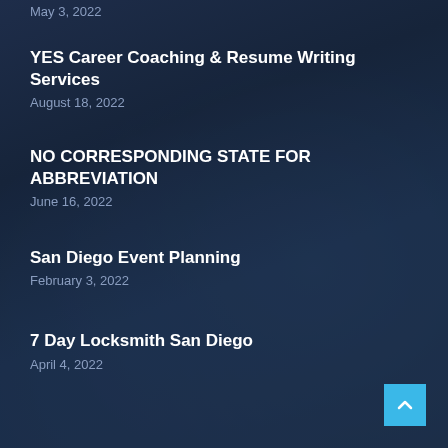May 3, 2022
YES Career Coaching & Resume Writing Services
August 18, 2022
NO CORRESPONDING STATE FOR ABBREVIATION
June 16, 2022
San Diego Event Planning
February 3, 2022
7 Day Locksmith San Diego
April 4, 2022